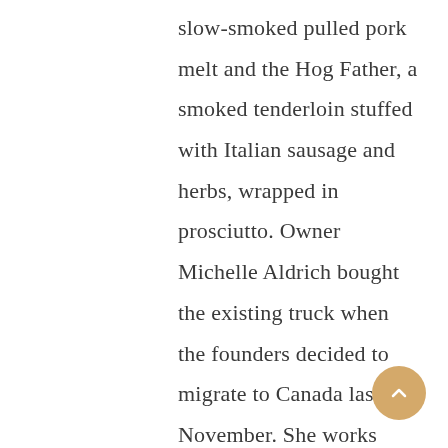slow-smoked pulled pork melt and the Hog Father, a smoked tenderloin stuffed with Italian sausage and herbs, wrapped in prosciutto. Owner Michelle Aldrich bought the existing truck when the founders decided to migrate to Canada last November. She works hard to continue their legacy, making sure to only take on events that align with her truck's capacity. “People are booking trucks for everything these days—reunions, weddings, graduations and parties,” Aldrich says. “You really have